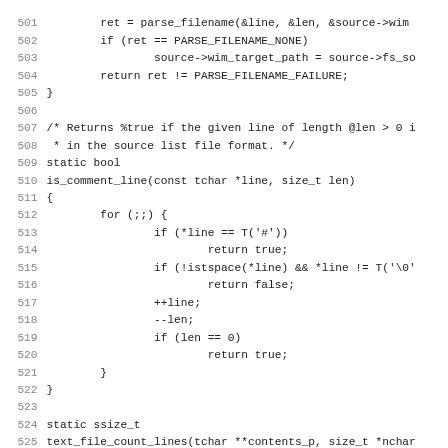[Figure (screenshot): Source code listing in C (lines 501-532+), showing functions parse_filename, is_comment_line, and text_file_count_lines with monospace font and line numbers.]